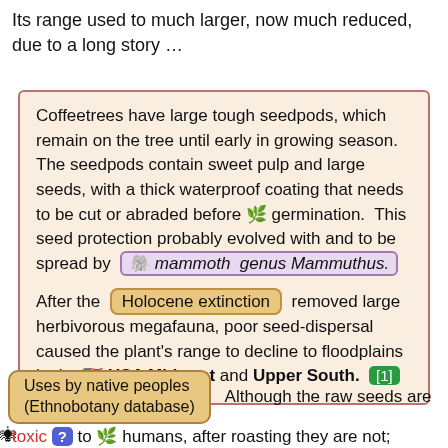Its range used to much larger, now much reduced, due to a long story …
Coffeetrees have large tough seedpods, which remain on the tree until early in growing season. The seedpods contain sweet pulp and large seeds, with a thick waterproof coating that needs to be cut or abraded before 🌱 germination. This seed protection probably evolved with and to be spread by 🐘 mammoth genus Mammuthus. After the Holocene extinction removed large herbivorous megafauna, poor seed-dispersal caused the plant's range to decline to floodplains in the 🇺🇸 USA Midwest and Upper South. [1]
Uses by native peoples (Ethnobotany database) Although the raw seeds are 🕷 toxic ? to 🌿 humans, after roasting they are not; early European settlers in Kentucky used these roasted beans as